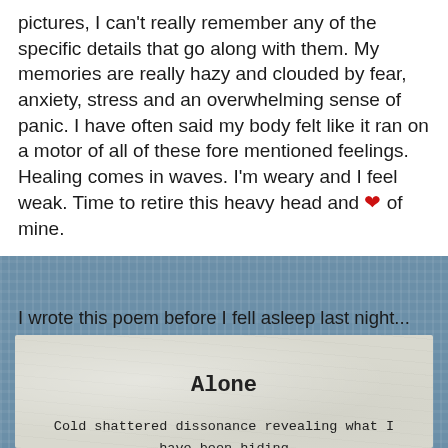pictures, I can't really remember any of the specific details that go along with them. My memories are really hazy and clouded by fear, anxiety, stress and an overwhelming sense of panic. I have often said my body felt like it ran on a motor of all of these fore mentioned feelings. Healing comes in waves. I'm weary and I feel weak. Time to retire this heavy head and ❤ of mine.
I wrote this poem before I fell asleep last night...
[Figure (illustration): A crumpled paper textured image with a poem titled 'Alone'. The poem text reads: 'Cold shattered dissonance revealing what I have been hiding / As I buy myself time, staying busy all along feeling so forlorn']